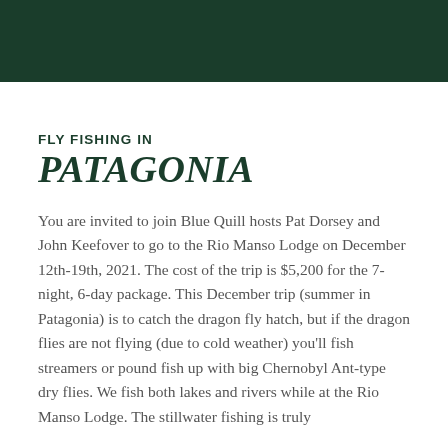[Figure (photo): Dark green banner/header image at the top of the page]
FLY FISHING IN
PATAGONIA
You are invited to join Blue Quill hosts Pat Dorsey and John Keefover to go to the Rio Manso Lodge on December 12th-19th, 2021. The cost of the trip is $5,200 for the 7-night, 6-day package. This December trip (summer in Patagonia) is to catch the dragon fly hatch, but if the dragon flies are not flying (due to cold weather) you'll fish streamers or pound fish up with big Chernobyl Ant-type dry flies. We fish both lakes and rivers while at the Rio Manso Lodge. The stillwater fishing is truly